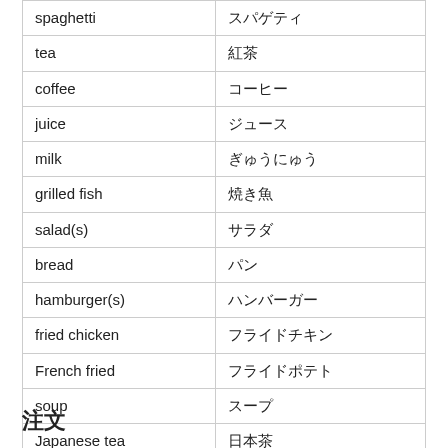| spaghetti | スパゲティ |
| tea | 紅茶 |
| coffee | コーヒー |
| juice | ジュース |
| milk | ぎゅうにゅう |
| grilled fish | 焼き魚 |
| salad(s) | サラダ |
| bread | パン |
| hamburger(s) | ハンバーガー |
| fried chicken | フライドチキン |
| French fried | フライドポテト |
| soup | スープ |
| Japanese tea | 日本茶 |
注文